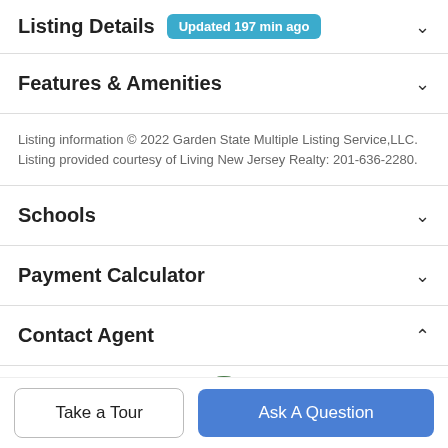Listing Details Updated 197 min ago
Features & Amenities
Listing information © 2022 Garden State Multiple Listing Service,LLC. Listing provided courtesy of Living New Jersey Realty: 201-636-2280.
Schools
Payment Calculator
Contact Agent